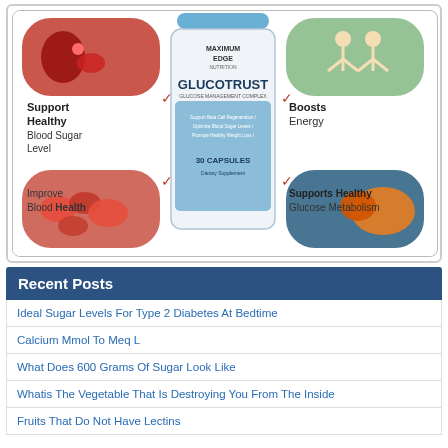[Figure (infographic): GlucoTrust supplement bottle infographic showing: Support Healthy Blood Sugar Level (top left), Boosts Energy (top right), Improve Blood Health (bottom left), Supports Healthy Glucose Metabolism (bottom right). Center shows MAXIMUM EDGE NUTRITION GLUCOTRUST Glucose Management Complex bottle with 30 capsules.]
Recent Posts
Ideal Sugar Levels For Type 2 Diabetes At Bedtime
Calcium Mmol To Meq L
What Does 600 Grams Of Sugar Look Like
Whatis The Vegetable That Is Destroying You From The Inside
Fruits That Do Not Have Lectins